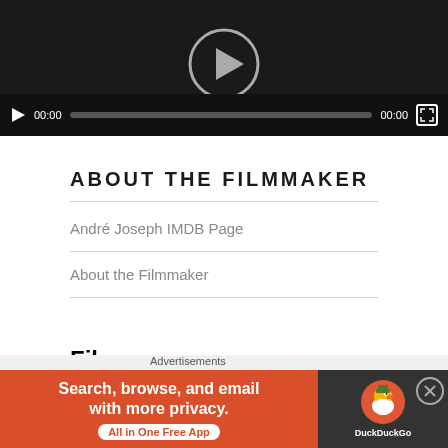[Figure (screenshot): Video player with dark background showing a play button circle in the center, a control bar at the bottom with play icon, time codes 00:00 and 00:00, a grey progress bar, and a fullscreen button.]
ABOUT THE FILMMAKER
André Joseph IMDB Page
About the Filmmaker
FILMS
[Figure (screenshot): Advertisement overlay at bottom: 'Advertisements' label above a DuckDuckGo ad banner reading 'Search, browse, and email with more privacy. All in One Free App' on orange background with DuckDuckGo duck logo on dark right panel. A close (X) button appears at the right.]